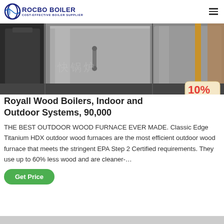ROCBO BOILER - COST-EFFECTIVE BOILER SUPPLIER
[Figure (photo): Industrial boilers / stainless steel storage tanks in a warehouse setting with Chinese text watermark]
Royall Wood Boilers, Indoor and Outdoor Systems, 90,000
[Figure (illustration): 10% DISCOUNT badge/sticker in red and blue text on a cream/tan shaped banner]
THE BEST OUTDOOR WOOD FURNACE EVER MADE. Classic Edge Titanium HDX outdoor wood furnaces are the most efficient outdoor wood furnace that meets the stringent EPA Step 2 Certified requirements. They use up to 60% less wood and are cleaner-…
Get Price